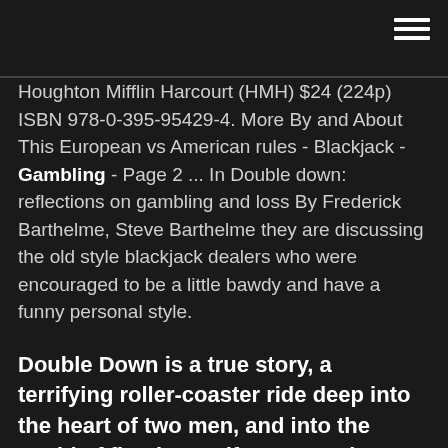[Figure (other): Hamburger menu icon (three horizontal white lines) in top right corner]
Houghton Mifflin Harcourt (HMH) $24 (224p) ISBN 978-0-395-95429-4. More By and About This European vs American rules - Blackjack - Gambling - Page 2 ... In Double down: reflections on gambling and loss By Frederick Barthelme, Steve Barthelme they are discussing the old style blackjack dealers who were encouraged to be a little bawdy and have a funny personal style.
Double Down is a true story, a terrifying roller-coaster ride deep into the heart of two men, and into the world of floating Gulf Coast casinos. When both of their parents died within a short time of each other, the writers Frederick and Steven Barthelme, both professors of English in